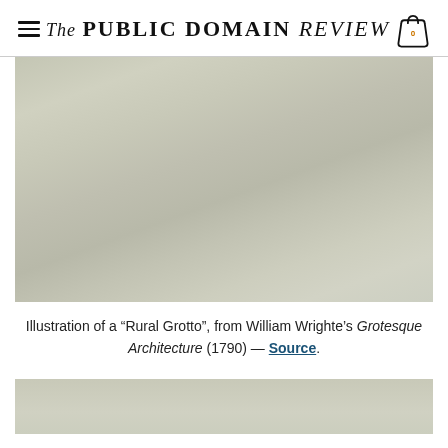The PUBLIC DOMAIN REVIEW
[Figure (illustration): Faded illustration of a Rural Grotto, a greyed-out yellowish-green rectangular image placeholder from William Wrighte's Grotesque Architecture (1790)]
Illustration of a “Rural Grotto”, from William Wrighte’s Grotesque Architecture (1790) — Source.
[Figure (illustration): Partial bottom image, another faded illustration from the same book, cut off at the bottom of the page]